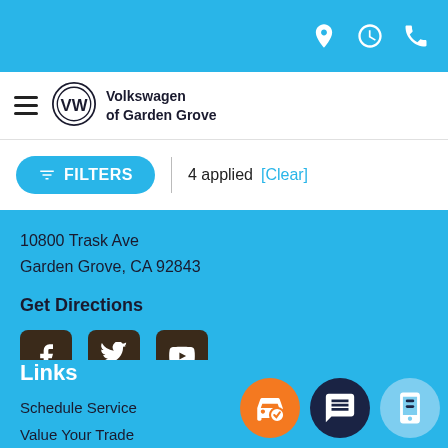Volkswagen of Garden Grove — top navigation bar with location, hours, and phone icons
[Figure (logo): Volkswagen of Garden Grove logo with hamburger menu, VW roundel, and dealer name]
FILTERS | 4 applied [Clear]
10800 Trask Ave
Garden Grove, CA 92843
Get Directions
[Figure (other): Social media icons: Facebook, Twitter, YouTube]
Links
Schedule Service
Value Your Trade
Get Approved